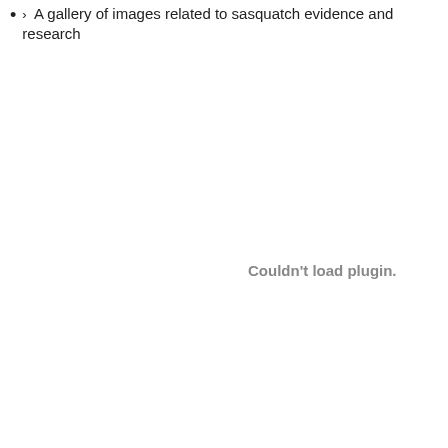> A gallery of images related to sasquatch evidence and research
Couldn't load plugin.